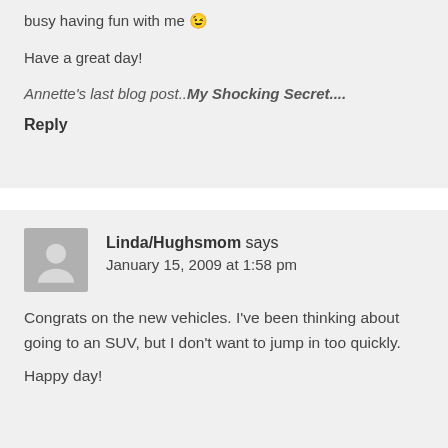busy having fun with me 😉
Have a great day!
Annette's last blog post..My Shocking Secret....
Reply
Linda/Hughsmom says January 15, 2009 at 1:58 pm
Congrats on the new vehicles. I've been thinking about going to an SUV, but I don't want to jump in too quickly.
Happy day!